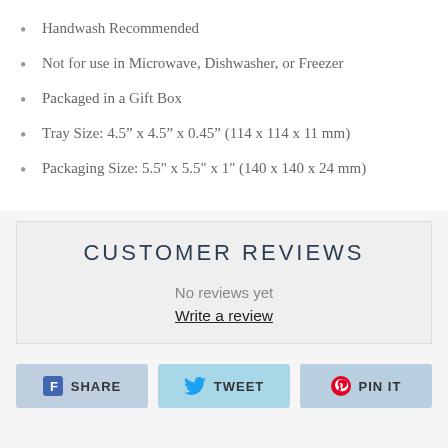Handwash Recommended
Not for use in Microwave, Dishwasher, or Freezer
Packaged in a Gift Box
Tray Size: 4.5” x 4.5” x 0.45” (114 x 114 x 11 mm)
Packaging Size: 5.5" x 5.5" x 1" (140 x 140 x 24 mm)
CUSTOMER REVIEWS
No reviews yet
Write a review
SHARE   TWEET   PIN IT